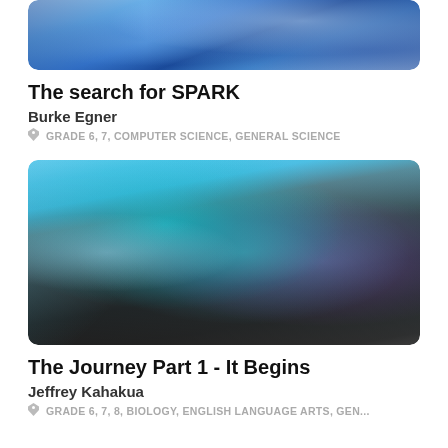[Figure (illustration): Icy blue fantasy landscape with water and structures, partial view at top of page]
The search for SPARK
Burke Egner
GRADE 6, 7, COMPUTER SCIENCE, GENERAL SCIENCE
[Figure (illustration): Fantasy waterfall scene with glowing cyan and purple water flowing over dark rocky formations]
The Journey Part 1 - It Begins
Jeffrey Kahakua
GRADE 6, 7, 8, BIOLOGY, ENGLISH LANGUAGE ARTS, GEN...